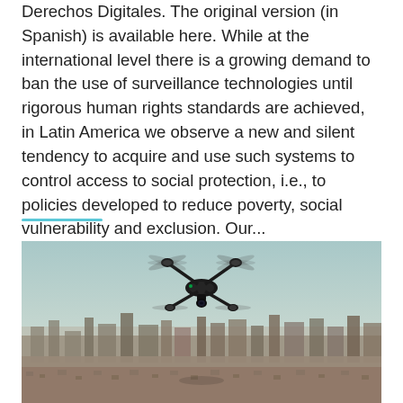Derechos Digitales. The original version (in Spanish) is available here. While at the international level there is a growing demand to ban the use of surveillance technologies until rigorous human rights standards are achieved, in Latin America we observe a new and silent tendency to acquire and use such systems to control access to social protection, i.e., to policies developed to reduce poverty, social vulnerability and exclusion. Our...
[Figure (photo): A drone (quadcopter) flying in the air above a cityscape. The drone is dark/black colored with multiple rotors. The city skyline with buildings is visible below in a hazy, desaturated tone. Sky is light blue-grey.]